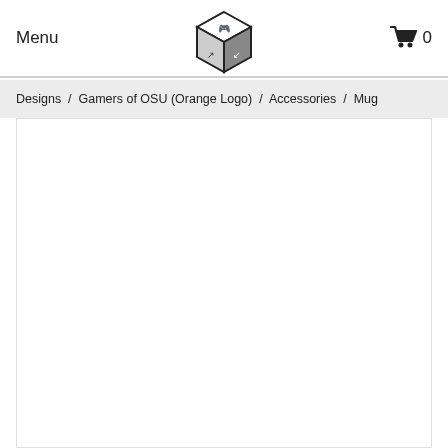Menu
[Figure (logo): Gamers of OSU cube logo — black and white stylized cube with game controller icons]
[Figure (other): Shopping cart icon with count 0]
Designs / Gamers of OSU (Orange Logo) / Accessories / Mug
[Figure (other): White empty content area / product image placeholder]